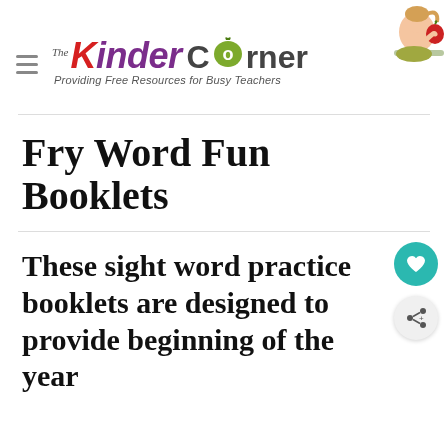[Figure (logo): The Kinder Corner logo with colorful text 'The Kinder Corner', tagline 'Providing Free Resources for Busy Teachers', a child holding an apple photo, and a hamburger menu icon]
Fry Word Fun Booklets
These sight word practice booklets are designed to provide beginning of the year